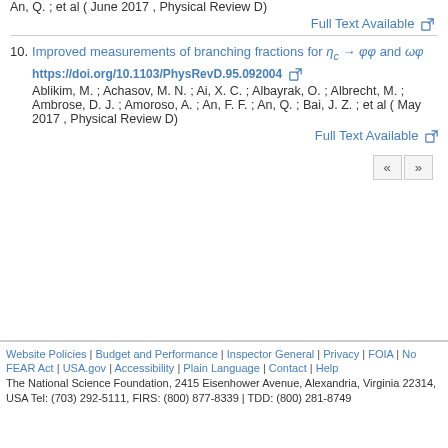An, Q. ; et al ( June 2017 , Physical Review D)
Full Text Available
10. Improved measurements of branching fractions for η_c → φφ and ωφ https://doi.org/10.1103/PhysRevD.95.092004
Ablikim, M. ; Achasov, M. N. ; Ai, X. C. ; Albayrak, O. ; Albrecht, M. ; Ambrose, D. J. ; Amoroso, A. ; An, F. F. ; An, Q. ; Bai, J. Z. ; et al ( May 2017 , Physical Review D)
Full Text Available
Website Policies | Budget and Performance | Inspector General | Privacy | FOIA | No FEAR Act | USA.gov | Accessibility | Plain Language | Contact | Help
The National Science Foundation, 2415 Eisenhower Avenue, Alexandria, Virginia 22314, USA Tel: (703) 292-5111, FIRS: (800) 877-8339 | TDD: (800) 281-8749